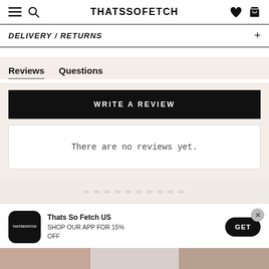THATSSOFETCH
DELIVERY / RETURNS
Reviews   Questions
WRITE A REVIEW
There are no reviews yet.
[Figure (screenshot): Blurred text banner at bottom of page]
Thats So Fetch US
SHOP OUR APP FOR 15% OFF
GET